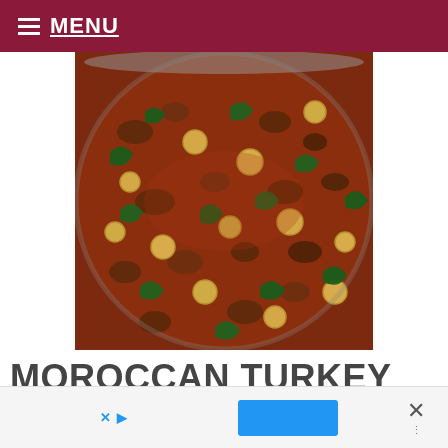≡ MENU
[Figure (photo): Overhead close-up of a pan containing Moroccan turkey ragù with chickpeas and spinach in a rich tomato-based sauce]
MOROCCAN TURKEY RAGÙ WITH CHICKPEAS AND S...
[Figure (other): Advertisement bar at bottom with X close icon, blue button, and menu/close icons]